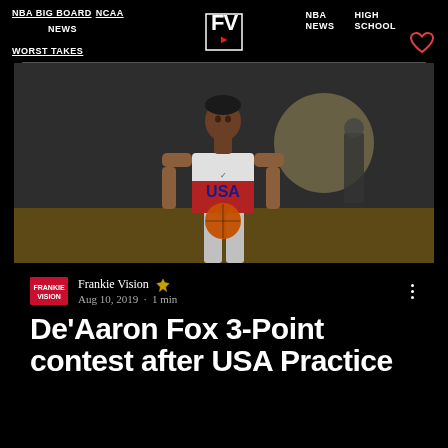NBA BIG BOARD  NCAA NEWS  NBA NEWS  HIGH SCHOOL  WORST TAKES
[Figure (photo): Basketball player wearing USA jersey number 20 holding a basketball, preparing to shoot during a practice session]
Frankie Vision  Aug 10, 2019 · 1 min
De'Aaron Fox 3-Point contest after USA Practice